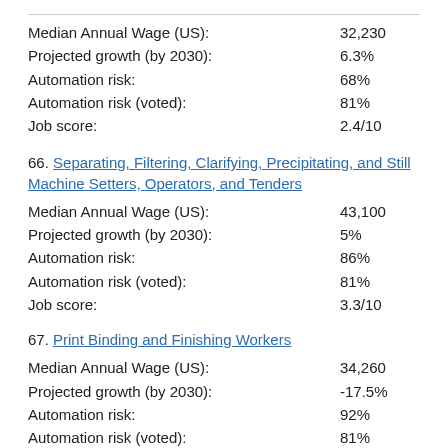Median Annual Wage (US): 32,230
Projected growth (by 2030): 6.3%
Automation risk: 68%
Automation risk (voted): 81%
Job score: 2.4/10
66. Separating, Filtering, Clarifying, Precipitating, and Still Machine Setters, Operators, and Tenders
Median Annual Wage (US): 43,100
Projected growth (by 2030): 5%
Automation risk: 86%
Automation risk (voted): 81%
Job score: 3.3/10
67. Print Binding and Finishing Workers
Median Annual Wage (US): 34,260
Projected growth (by 2030): -17.5%
Automation risk: 92%
Automation risk (voted): 81%
Job score: 2.0/10